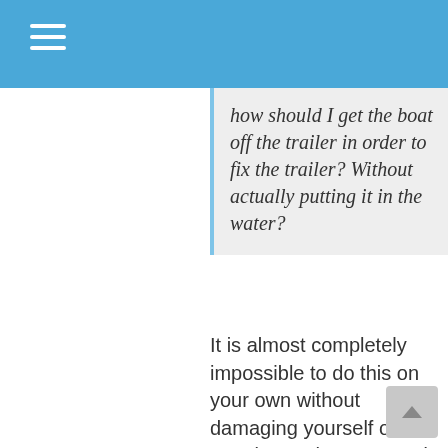how should I get the boat off the trailer in order to fix the trailer? Without actually putting it in the water?
It is almost completely impossible to do this on your own without damaging yourself or your boat! I have wasted too much time trying to do it that way. If you have two or three helpers it is pretty easy. Support